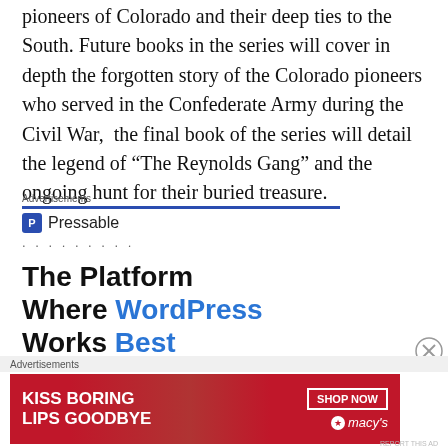pioneers of Colorado and their deep ties to the South. Future books in the series will cover in depth the forgotten story of the Colorado pioneers who served in the Confederate Army during the Civil War,  the final book of the series will detail the legend of “The Reynolds Gang” and the ongoing hunt for their buried treasure.
Advertisements
[Figure (infographic): Pressable advertisement: logo with 'P' icon, name 'Pressable', dots pattern, and large text 'The Platform Where WordPress Works Best']
Advertisements
[Figure (infographic): Macy's advertisement: red background with woman's face, text 'KISS BORING LIPS GOODBYE', SHOP NOW button, and Macy's star logo]